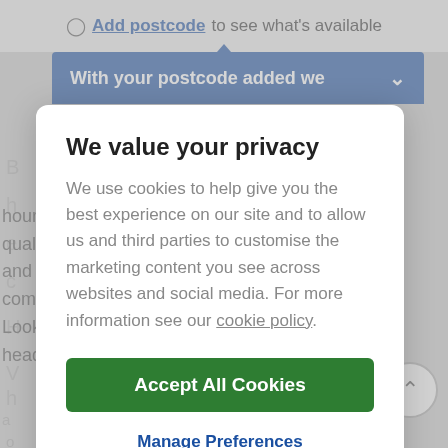[Figure (screenshot): Background website page with postcode prompt, blue expandable bar, and partial product text]
We value your privacy
We use cookies to help give you the best experience on our site and to allow us and third parties to customise the marketing content you see across websites and social media. For more information see our cookie policy.
Accept All Cookies
Manage Preferences
hours of battery life and award-winning sound quality and lightweight, they make listening sessions comfortable. Looking for a headphone for your kid? Our kids' headphones